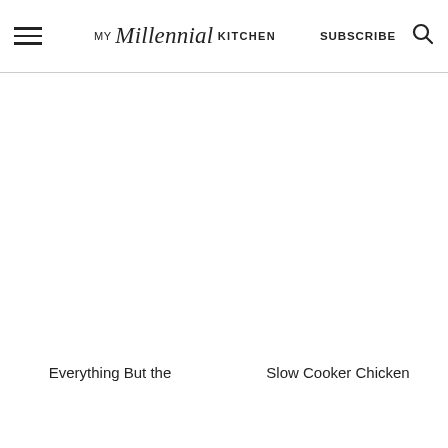MY Millennial KITCHEN  SUBSCRIBE
[Figure (photo): Left image placeholder — food photo (white/blank area)]
[Figure (photo): Right image placeholder — food photo (white/blank area)]
Everything But the
Slow Cooker Chicken